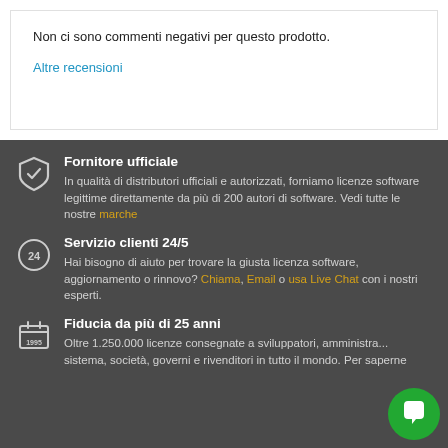Non ci sono commenti negativi per questo prodotto.
Altre recensioni
Fornitore ufficiale
In qualità di distributori ufficiali e autorizzati, forniamo licenze software legittime direttamente da più di 200 autori di software. Vedi tutte le nostre marche
Servizio clienti 24/5
Hai bisogno di aiuto per trovare la giusta licenza software, aggiornamento o rinnovo? Chiama, Email o usa Live Chat con i nostri esperti.
Fiducia da più di 25 anni
Oltre 1.250.000 licenze consegnate a sviluppatori, amministra... sistema, società, governi e rivenditori in tutto il mondo. Per saperne